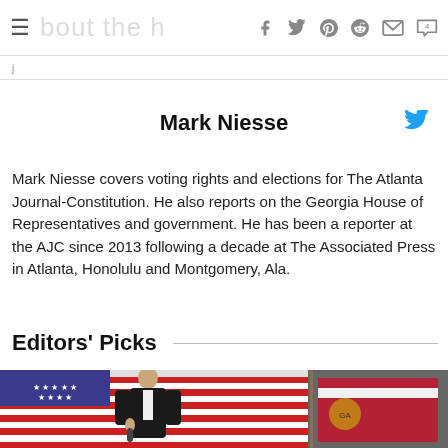About the [site] — social share icons: facebook, twitter, pinterest, reddit, email, comments(4)
j
Mark Niesse
Mark Niesse covers voting rights and elections for The Atlanta Journal-Constitution. He also reports on the Georgia House of Representatives and government. He has been a reporter at the AJC since 2013 following a decade at The Associated Press in Atlanta, Honolulu and Montgomery, Ala.
Editors' Picks
[Figure (photo): Person in dark blazer speaking in front of an American flag and a Georgia state flag]